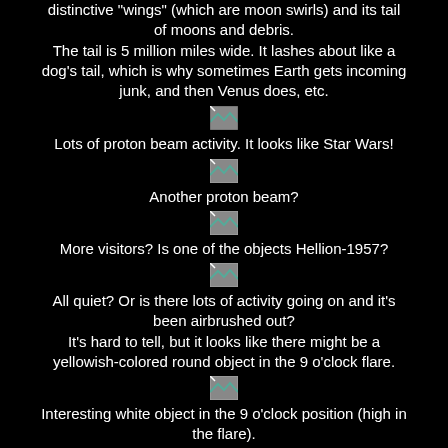distinctive "wings" (which are moon swirls) and its tail of moons and debris.
The tail is 5 million miles wide. It lashes about like a dog's tail, which is why sometimes Earth gets incoming junk, and then Venus does, etc.
[Figure (photo): Small broken/placeholder image icon]
Lots of proton beam activity. It looks like Star Wars!
[Figure (photo): Small broken/placeholder image icon]
Another proton beam?
[Figure (photo): Small broken/placeholder image icon]
More visitors? Is one of the objects Hellion-1957?
[Figure (photo): Small broken/placeholder image icon]
All quiet? Or is there lots of activity going on and it's been airbrushed out?
It's hard to tell, but it looks like there might be a yellowish-colored round object in the 9 o'clock flare.
[Figure (photo): Small broken/placeholder image icon]
Interesting white object in the 9 o'clock position (high in the flare).
It wasn't there in any other frames. Ooops, guess NASA missed that one.
Maybe it's a UFO tracking the Hellion object?